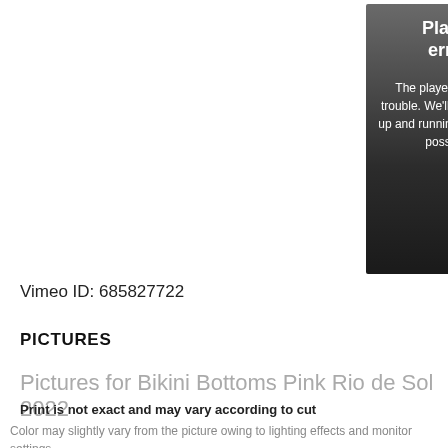[Figure (screenshot): Video player error overlay showing 'Player error' title and message: 'The player is having trouble. We'll have it back up and running as soon as possible.' with an X close button, displayed over a blurred/darkened background image of a person.]
Vimeo ID: 685827722
PICTURES
Pictures for Bikini Bottoms Pink Rio de Sol 2022
Print is not exact and may vary according to cut
Color may slightly vary from the picture owing to lighting effects and monitor settings.